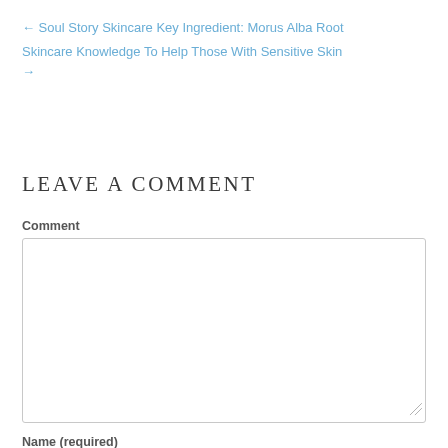← Soul Story Skincare Key Ingredient: Morus Alba Root
Skincare Knowledge To Help Those With Sensitive Skin →
Leave A Comment
Comment
Name (required)